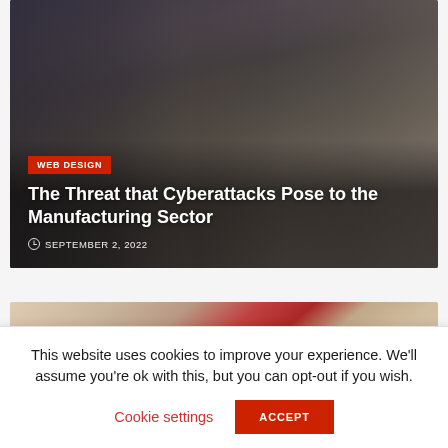[Figure (photo): Three business people shaking hands outdoors, one woman in dark coat extending hand to another woman in light grey coat, man in dark coat between them]
WEB DESIGN
The Threat that Cyberattacks Pose to the Manufacturing Sector
SEPTEMBER 2, 2022
[Figure (photo): Partial view of food on a plate, appears to be meat or charcuterie with red elements]
This website uses cookies to improve your experience. We'll assume you're ok with this, but you can opt-out if you wish.
Cookie settings
ACCEPT